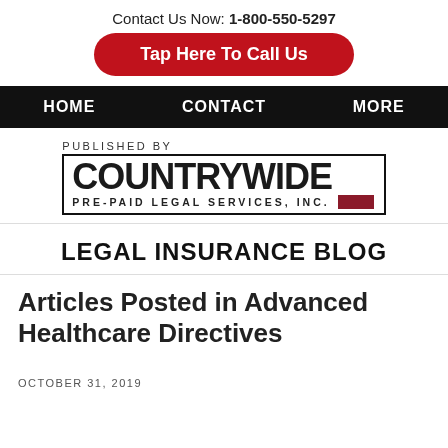Contact Us Now: 1-800-550-5297
Tap Here To Call Us
HOME   CONTACT   MORE
[Figure (logo): Countrywide Pre-Paid Legal Services, Inc. logo with 'PUBLISHED BY' above it]
LEGAL INSURANCE BLOG
Articles Posted in Advanced Healthcare Directives
OCTOBER 31, 2019